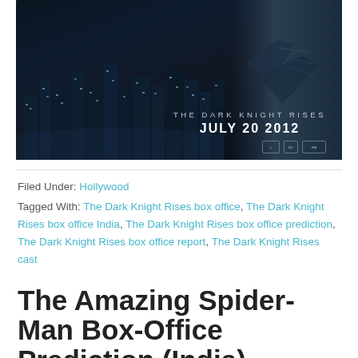[Figure (photo): Movie poster for The Dark Knight Rises showing a dark city skyline at night with a Batman-like armored figure silhouette in the upper right. Text on poster reads 'THE DARK KNIGHT RISES' and 'JULY 20 2012' with production company logos at bottom.]
Filed Under: Hollywood
Tagged With: The Dark Knight Rises box office, The Dark Knight Rises box office India, The Dark Knight Rises box office prediction, The Dark Knight Rises box office report, The Dark Knight Rises cast
The Amazing Spider-Man Box-Office Prediction (India)